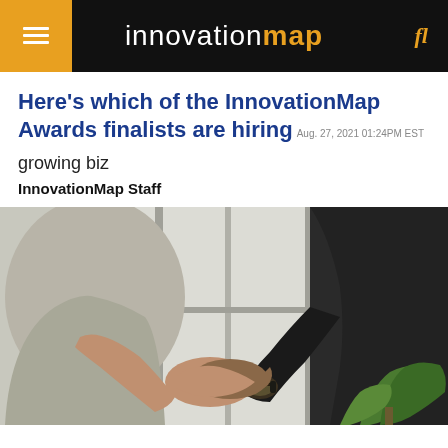innovationmap
Here's which of the InnovationMap Awards finalists are hiring
Aug. 27, 2021 01:24PM EST
growing biz
InnovationMap Staff
[Figure (photo): Two people shaking hands in a professional setting, one wearing a light grey blazer and the other in a dark jacket with a watch, with a plant and large windows in the background.]